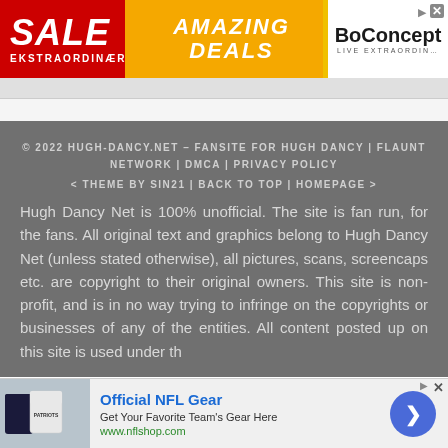[Figure (infographic): Advertisement banner: red left section with SALE / EKSTRAORDINÆR text, golden center with AMAZING DEALS italic text, white right section with BoConcept logo and LIVE EXTRAORDINARY tagline]
© 2022 HUGH-DANCY.NET – FANSITE FOR HUGH DANCY | FLAUNT NETWORK | DMCA | PRIVACY POLICY
< THEME BY SIN21 | BACK TO TOP | HOMEPAGE >
Hugh Dancy Net is 100% unofficial. The site is fan run, for the fans. All original text and graphics belong to Hugh Dancy Net (unless stated otherwise), all pictures, scans, screencaps etc. are copyright to their original owners. This site is non-profit, and is in no way trying to infringe on the copyrights or businesses of any of the entities. All content posted up on this site is used under th
[Figure (infographic): Advertisement banner for Official NFL Gear showing NFL jerseys image on left, text 'Official NFL Gear - Get Your Favorite Team's Gear Here - www.nflshop.com' in center, and a blue circular arrow button on right]